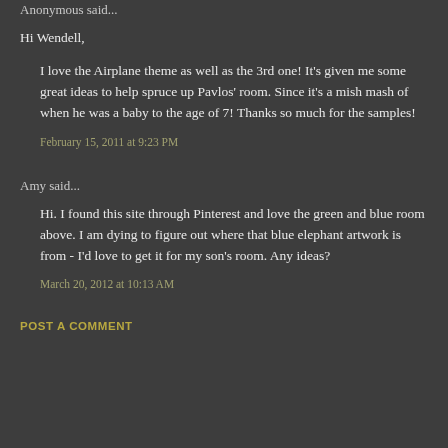Anonymous said...
Hi Wendell,
I love the Airplane theme as well as the 3rd one! It's given me some great ideas to help spruce up Pavlos' room. Since it's a mish mash of when he was a baby to the age of 7! Thanks so much for the samples!
February 15, 2011 at 9:23 PM
Amy said...
Hi. I found this site through Pinterest and love the green and blue room above. I am dying to figure out where that blue elephant artwork is from - I'd love to get it for my son's room. Any ideas?
March 20, 2012 at 10:13 AM
POST A COMMENT